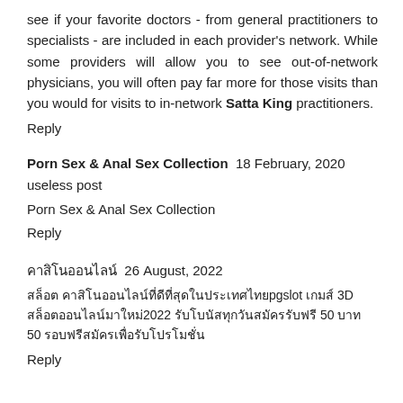see if your favorite doctors - from general practitioners to specialists - are included in each provider's network. While some providers will allow you to see out-of-network physicians, you will often pay far more for those visits than you would for visits to in-network Satta King practitioners.
Reply
Porn Sex & Anal Sex Collection  18 February, 2020
useless post
Porn Sex & Anal Sex Collection
Reply
คาสิโนออนไลน์  26 August, 2022
สล็อต คาสิโนออนไลน์ที่ดีที่สุดในประเทศไทยpgslot เกมส์ 3D สล็อตออนไลน์มาใหม่2022 รับโบนัสทุกวันสมัครรับฟรี 50 บาท 50 รอบฟรีสมัครเพื่อรับโปรโมชั่น
Reply